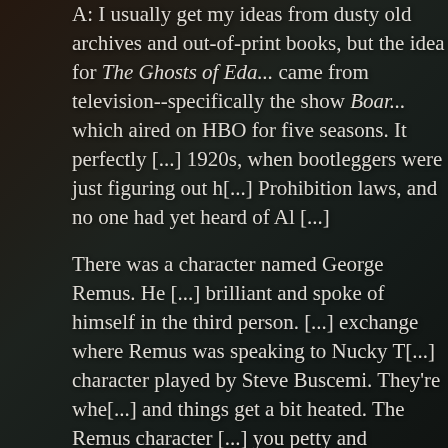A: I usually get my ideas from dusty old archives and out-of-print books, but the idea for The Ghosts of Eda... came from television--specifically the show Boa... which aired on HBO for five seasons. It perfectly [captured the] 1920s, when bootleggers were just figuring out h[ow to circumvent] Prohibition laws, and no one had yet heard of Al [Capone].
There was a character named George Remus. He [was] brilliant and spoke of himself in the third person. [There's an] exchange where Remus was speaking to Nucky T[hompson, a] character played by Steve Buscemi. They're whe[eeling and dealing] and things get a bit heated. The Remus character [says, 'That makes] you petty and resentful.' And Buscemi retorts, 'R[emus talks about] himself.'
Remus stole every scene he was in. I wondered i...